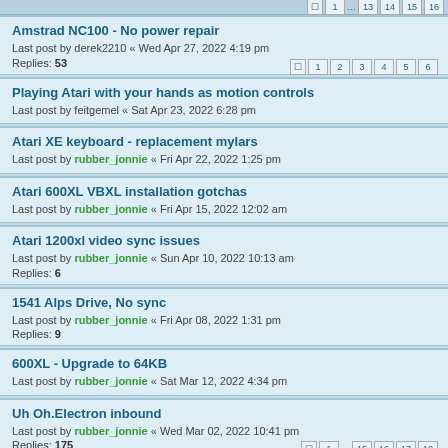Amstrad NC100 - No power repair
Last post by derek2210 « Wed Apr 27, 2022 4:19 pm
Replies: 53
Playing Atari with your hands as motion controls
Last post by feitgemel « Sat Apr 23, 2022 6:28 pm
Atari XE keyboard - replacement mylars
Last post by rubber_jonnie « Fri Apr 22, 2022 1:25 pm
Atari 600XL VBXL installation gotchas
Last post by rubber_jonnie « Fri Apr 15, 2022 12:02 am
Atari 1200xl video sync issues
Last post by rubber_jonnie « Sun Apr 10, 2022 10:13 am
Replies: 6
1541 Alps Drive, No sync
Last post by rubber_jonnie « Fri Apr 08, 2022 1:31 pm
Replies: 9
600XL - Upgrade to 64KB
Last post by rubber_jonnie « Sat Mar 12, 2022 4:34 pm
Uh Oh.Electron inbound
Last post by rubber_jonnie « Wed Mar 02, 2022 10:41 pm
Replies: 175
The age of Aquarius
Last post by rubber_jonnie « Thu Feb 10, 2022 2:26 pm
Replies: 106